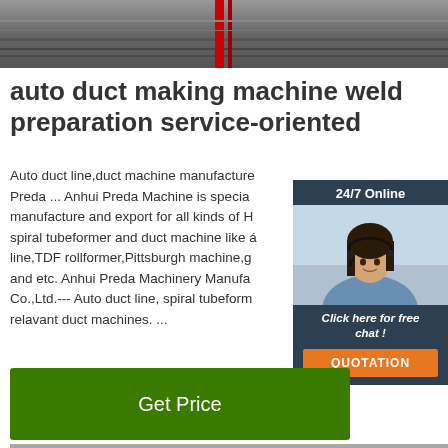[Figure (photo): Top industrial duct machine photo showing metal equipment/rails in a factory setting]
auto duct making machine weld preparation service-oriented
Auto duct line,duct machine manufacturer Preda ... Anhui Preda Machine is specialized in manufacture and export for all kinds of HVAC spiral tubeformer and duct machine like auto duct line,TDF rollformer,Pittsburgh machine,grooving and etc. Anhui Preda Machinery Manufacturing Co.,Ltd.--- Auto duct line, spiral tubeformer and relavant duct machines. ...
[Figure (photo): Chat widget showing 24/7 Online badge, photo of woman with headset smiling, Click here for free chat text and QUOTATION button]
[Figure (photo): Get Price green button]
[Figure (photo): Bottom industrial photo showing duct machine in factory with red equipment]